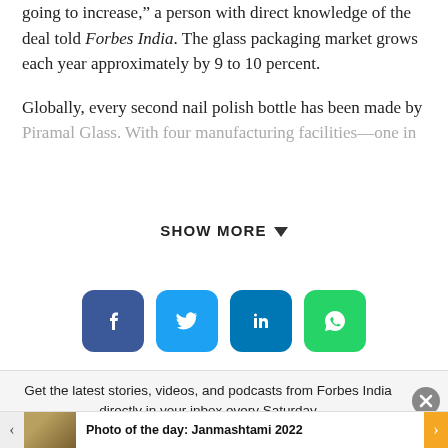going to increase,” a person with direct knowledge of the deal told Forbes India. The glass packaging market grows each year approximately by 9 to 10 percent.
Globally, every second nail polish bottle has been made by Piramal Glass. With four manufacturing facilities—one in
SHOW MORE
[Figure (infographic): Social media share buttons: Facebook (dark blue), Twitter (light blue), LinkedIn (blue), WhatsApp (green)]
Get the latest stories, videos, and podcasts from Forbes India directly in your inbox every Saturday
Photo of the day: Janmashtami 2022